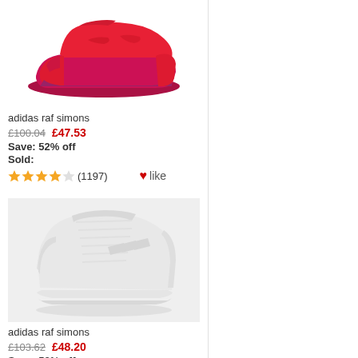[Figure (photo): Red/pink Adidas Raf Simons sneaker on white background]
adidas raf simons
£100.04  £47.53
Save: 52% off
Sold:
★★★★☆ (1197)  ♥like
[Figure (photo): Light grey/white Adidas Raf Simons Stan Smith sneaker on light grey background]
adidas raf simons
£103.62  £48.20
Save: 53% off
Sold: